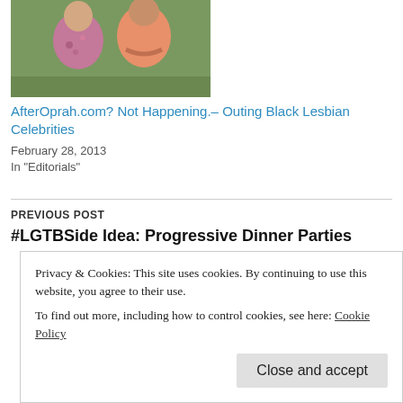[Figure (photo): Two women sitting outdoors, one in a floral top, one in a peach/orange top]
AfterOprah.com? Not Happening.– Outing Black Lesbian Celebrities
February 28, 2013
In "Editorials"
PREVIOUS POST
#LGTBSide Idea: Progressive Dinner Parties
Privacy & Cookies: This site uses cookies. By continuing to use this website, you agree to their use.
To find out more, including how to control cookies, see here: Cookie Policy
Close and accept